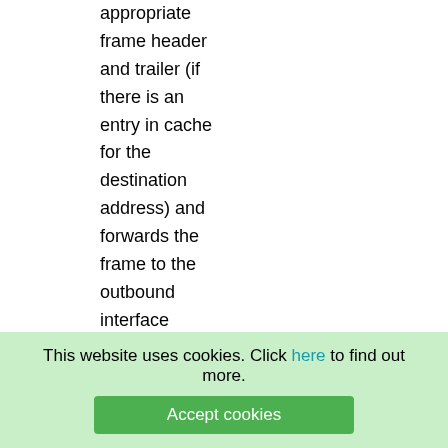appropriate frame header and trailer (if there is an entry in cache for the destination address) and forwards the frame to the outbound interface queue
12: What information is contained in the fast switching cache?
A1
This website uses cookies. Click here to find out more. Accept cookies